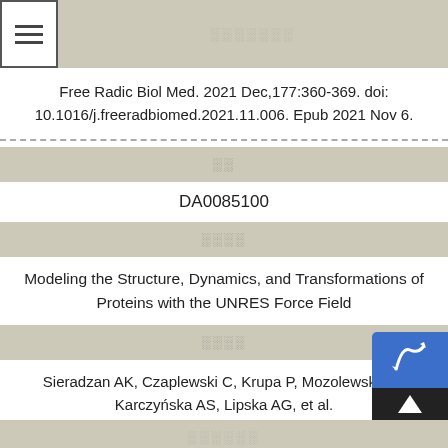░░░░░░░
Free Radic Biol Med. 2021 Dec,177:360-369. doi: 10.1016/j.freeradbiomed.2021.11.006. Epub 2021 Nov 6.
░░
DA0085100
░░░░
Modeling the Structure, Dynamics, and Transformations of Proteins with the UNRES Force Field
░░░░
Sieradzan AK, Czaplewski C, Krupa P, Mozolewska M, Karczyńska AS, Lipska AG, et al.
░░░░░░